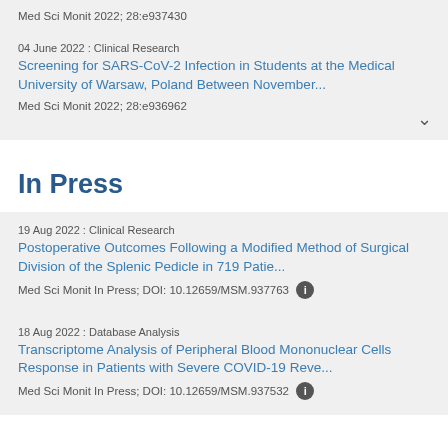Med Sci Monit 2022; 28:e937430
04 June 2022 : Clinical Research
Screening for SARS-CoV-2 Infection in Students at the Medical University of Warsaw, Poland Between November...
Med Sci Monit 2022; 28:e936962
In Press
19 Aug 2022 : Clinical Research
Postoperative Outcomes Following a Modified Method of Surgical Division of the Splenic Pedicle in 719 Patie...
Med Sci Monit In Press; DOI: 10.12659/MSM.937763
18 Aug 2022 : Database Analysis
Transcriptome Analysis of Peripheral Blood Mononuclear Cells Response in Patients with Severe COVID-19 Reve...
Med Sci Monit In Press; DOI: 10.12659/MSM.937532